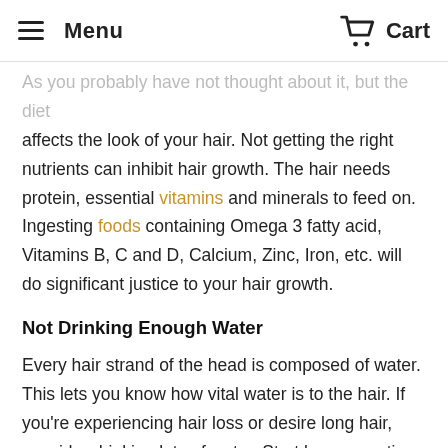Menu  Cart
As you probably have not thought about it, but the diet affects the look of your hair. Not getting the right nutrients can inhibit hair growth. The hair needs protein, essential vitamins and minerals to feed on. Ingesting foods containing Omega 3 fatty acid, Vitamins B, C and D, Calcium, Zinc, Iron, etc. will do significant justice to your hair growth.
Not Drinking Enough Water
Every hair strand of the head is composed of water. This lets you know how vital water is to the hair. If you're experiencing hair loss or desire long hair, consider drinking lots of water. Start by preempting yourself, don't wait to get thirsty before you drink water.
Skipping Sleep